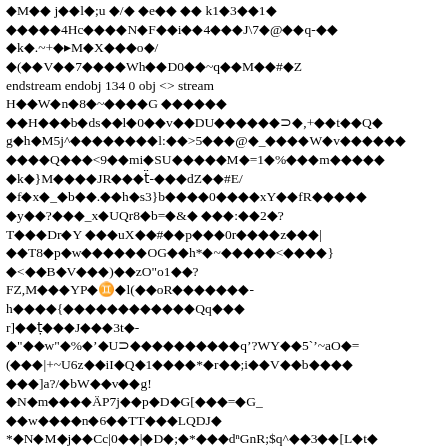Binary/encoded PDF stream content with diamond replacement characters mixed with ASCII text including: endstream endobj 134 0 obj <> stream and various encoded binary data lines